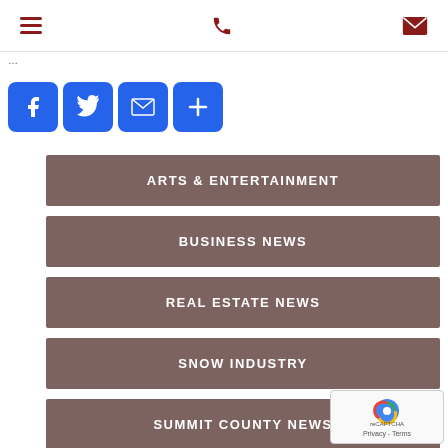Navigation header with hamburger menu, phone icon, and mail icon
...
[Figure (other): Social share buttons: Facebook, Twitter, Email, Plus]
ARTS & ENTERTAINMENT
BUSINESS NEWS
REAL ESTATE NEWS
SNOW INDUSTRY
SUMMIT COUNTY NEWS
[Figure (other): reCAPTCHA widget overlay with Privacy - Terms text]